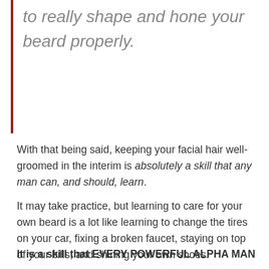to really shape and hone your beard properly.
With that being said, keeping your facial hair well-groomed in the interim is absolutely a skill that any man can, and should, learn.
It may take practice, but learning to care for your own beard is a lot like learning to change the tires on your car, fixing a broken faucet, staying on top of your bills, and shining your own shoes.
It is a skill that EVERY POWERFUL ALPHA MAN SHOULD LEARN.